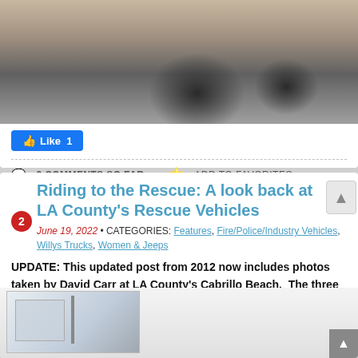[Figure (photo): Close-up photo of a vehicle wheel/tire on pavement, partially cropped at top]
Like 1
2 COMMENTS SO FAR • ADD TO FAVORITES
Riding to the Rescue: A look back at LA County's Rescue Vehicles
June 19, 2022 • CATEGORIES: Features, Fire/Police/Industry Vehicles, Willys Trucks, Women & Jeeps
UPDATE: This updated post from 2012 now includes photos taken by David Carr at LA County's Cabrillo Beach.  The three photos below are on a wall as part of a "wall-of-fame".
[Figure (photo): Partial view of black and white historical photos on a wall showing rescue vehicles/equipment]